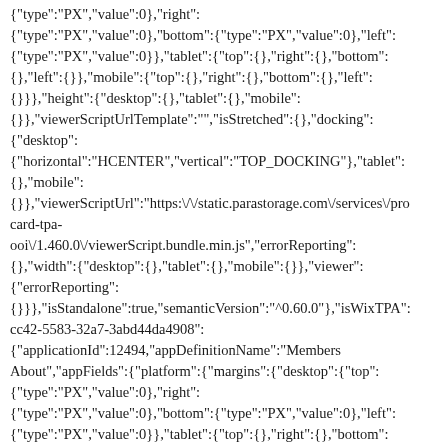{"type":"PX","value":0},"right": {"type":"PX","value":0},"bottom":{"type":"PX","value":0},"left": {"type":"PX","value":0}},"tablet":{"top":{},"right":{},"bottom": {},"left":{}},"mobile":{"top":{},"right":{},"bottom":{},"left": {}}},"height":{"desktop":{},"tablet":{},"mobile": {}},"viewerScriptUrlTemplate":"","isStretched":{},"docking": {"desktop": {"horizontal":"HCENTER","vertical":"TOP_DOCKING"},"tablet": {},"mobile": {}},"viewerScriptUrl":"https:\/\/static.parastorage.com\/services\/pro card-tpa- ooi\/1.460.0\/viewerScript.bundle.min.js","errorReporting": {},"width":{"desktop":{},"tablet":{},"mobile":{}},"viewer": {"errorReporting": {}}},"isStandalone":true,"semanticVersion":"^0.60.0"},"isWixTPA": cc42-5583-32a7-3abd44da4908": {"applicationId":12494,"appDefinitionName":"Members About","appFields":{"platform":{"margins":{"desktop":{"top": {"type":"PX","value":0},"right": {"type":"PX","value":0},"bottom":{"type":"PX","value":0},"left": {"type":"PX","value":0}},"tablet":{"top":{},"right":{},"bottom": {},"left":{}},"mobile":{"top":{},"right":{},"bottom":{},"left": {}}},"height":{"desktop":{},"tablet":{},"mobile": {}},"editorScriptUrl":"https:\/\/static.parastorage.com\/services\/men area-app-editor-